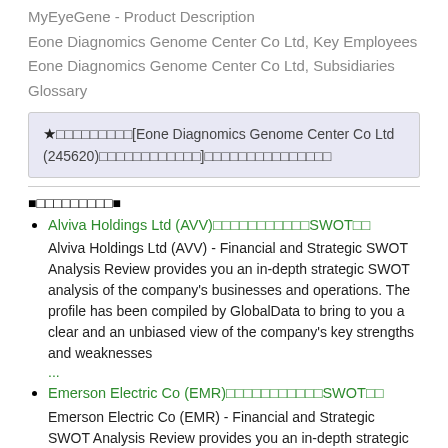MyEyeGene - Product Description
Eone Diagnomics Genome Center Co Ltd, Key Employees
Eone Diagnomics Genome Center Co Ltd, Subsidiaries
Glossary
★□□□□□□□□□[Eone Diagnomics Genome Center Co Ltd (245620)□□□□□□□□□□□□]□□□□□□□□□□□□□□□
■□□□□□□□□□■
Alviva Holdings Ltd (AVV)□□□□□□□□□□□SWOT□□
Alviva Holdings Ltd (AVV) - Financial and Strategic SWOT Analysis Review provides you an in-depth strategic SWOT analysis of the company's businesses and operations. The profile has been compiled by GlobalData to bring to you a clear and an unbiased view of the company's key strengths and weaknesses ...
Emerson Electric Co (EMR)□□□□□□□□□□□SWOT□□
Emerson Electric Co (EMR) - Financial and Strategic SWOT Analysis Review provides you an in-depth strategic SWOT